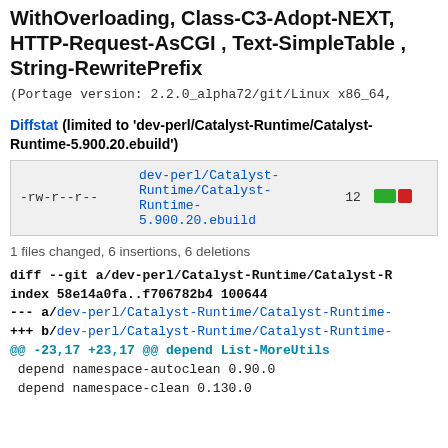WithOverloading, Class-C3-Adopt-NEXT, HTTP-Request-AsCGI , Text-SimpleTable , String-RewritePrefix
(Portage version: 2.2.0_alpha72/git/Linux x86_64,
Diffstat (limited to 'dev-perl/Catalyst-Runtime/Catalyst-Runtime-5.900.20.ebuild')
| file | changes | bars |
| --- | --- | --- |
| -rw-r--r-- | dev-perl/Catalyst-Runtime/Catalyst-Runtime-5.900.20.ebuild | 12 |
1 files changed, 6 insertions, 6 deletions
diff --git a/dev-perl/Catalyst-Runtime/Catalyst-R
index 58e14a0fa..f706782b4 100644
--- a/dev-perl/Catalyst-Runtime/Catalyst-Runtime-
+++ b/dev-perl/Catalyst-Runtime/Catalyst-Runtime-
@@ -23,17 +23,17 @@ depend List-MoreUtils
 depend namespace-autoclean 0.90.0
 depend namespace-clean 0.130.0